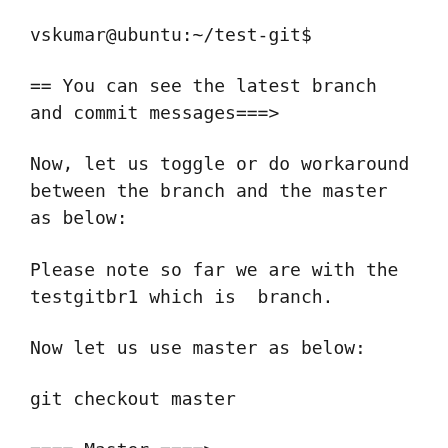vskumar@ubuntu:~/test-git$
== You can see the latest branch and commit messages===>
Now, let us toggle or do workaround between the branch and the master as below:
Please note so far we are with the testgitbr1 which is  branch.
Now let us use master as below:
git checkout master
==== Master ====>